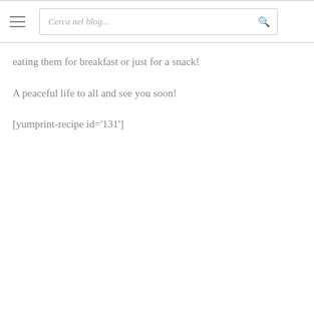eating them for breakfast or just for a snack!
A peaceful life to all and see you soon!
[yumprint-recipe id='131']